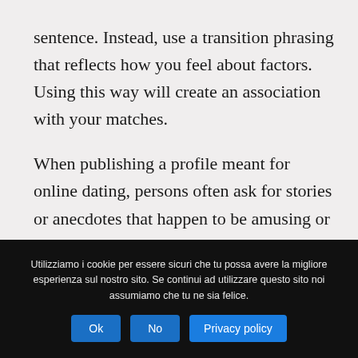sentence. Instead, use a transition phrasing that reflects how you feel about factors. Using this way will create an association with your matches.

When publishing a profile meant for online dating, persons often ask for stories or anecdotes that happen to be amusing or perhaps clever. It’s best to put humor the natural way – it will not come across as compelled if you try to use it.

The easiest way to add it to your...
Utilizziamo i cookie per essere sicuri che tu possa avere la migliore esperienza sul nostro sito. Se continui ad utilizzare questo sito noi assumiamo che tu ne sia felice.